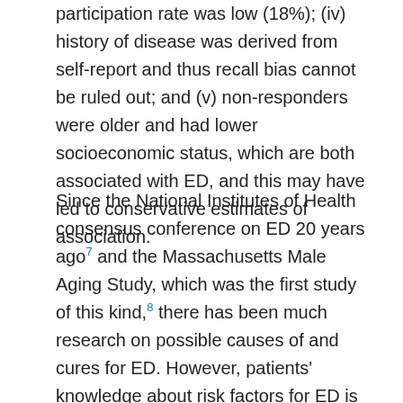participation rate was low (18%); (iv) history of disease was derived from self-report and thus recall bias cannot be ruled out; and (v) non-responders were older and had lower socioeconomic status, which are both associated with ED, and this may have led to conservative estimates of association.
Since the National Institutes of Health consensus conference on ED 20 years ago[7] and the Massachusetts Male Aging Study, which was the first study of this kind,[8] there has been much research on possible causes of and cures for ED. However, patients' knowledge about risk factors for ED is generally poor.[25] Furthermore, the availability of medications to treat ED may have increased awareness of the condition or treatment-seeking behaviour and, with that, increasing vulnerability to unproven, costly interventions outside of the health system. Given that ED may be an early symptom of disease and not just a quality of life issue